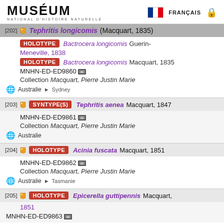MUSÉUM NATIONAL D'HISTOIRE NATURELLE — FRANÇAIS
[202] Tephritis longicomis (Macquart, 1835)
HOLOTYPE Bactrocera longicomis Guerin-Meneville, 1838
HOLOTYPE Bactrocera longicomis Macquart, 1835
MNHN-ED-ED9860
Collection Macquart, Pierre Justin Marie
Australie > Sydney
[203] SYNTYPE(S) Tephritis aenea Macquart, 1847
MNHN-ED-ED9861
Collection Macquart, Pierre Justin Marie
Australie
[204] HOLOTYPE Acinia fuscata Macquart, 1851
MNHN-ED-ED9862
Collection Macquart, Pierre Justin Marie
Australie > Tasmanie
[205] HOLOTYPE Epicerella guttipennis Macquart, 1851
MNHN-ED-ED9863